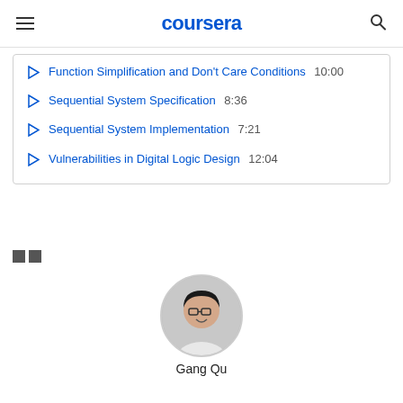coursera
Function Simplification and Don't Care Conditions  10:00
Sequential System Specification  8:36
Sequential System Implementation  7:21
Vulnerabilities in Digital Logic Design  12:04
[Figure (other): Two small rating/star boxes icons]
[Figure (photo): Circular profile photo of instructor Gang Qu]
Gang Qu